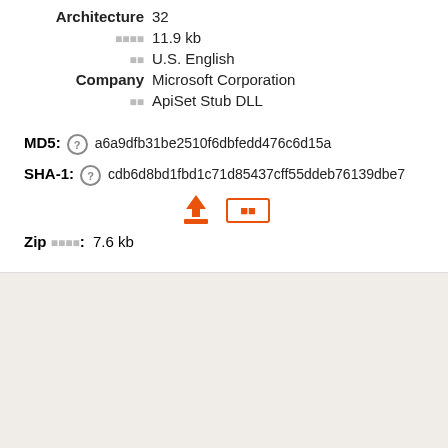Architecture  32
□□□□  11.9 kb
□□  U.S. English
Company  Microsoft Corporation
□□  ApiSet Stub DLL
MD5:  a6a9dfb31be2510f6dbfedd476c6d15a
SHA-1:  cdb6d8bd1fbd1c71d85437cff55ddeb76139dbe7
[Figure (other): Download icon (orange arrow pointing down to tray) and orange boxed text placeholder]
Zip □□□□:  7.6 kb
[Figure (other): Light beige/grey bottom panel area]